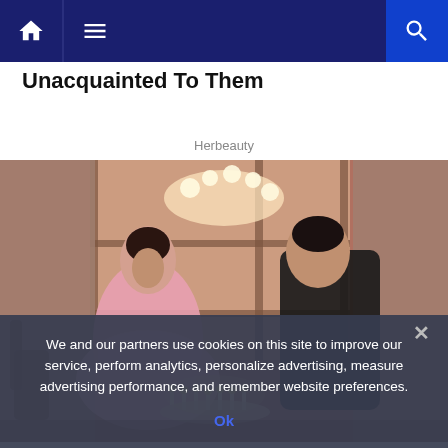Navigation bar with home, menu, and search icons
Unacquainted To Them
Herbeauty
[Figure (photo): A young woman in a pink ballgown and a young man in a dark shirt facing each other across a birthday cake with lit candles. Chandelier and windows visible in the background. Scene from the movie Sixteen Candles.]
We and our partners use cookies on this site to improve our service, perform analytics, personalize advertising, measure advertising performance, and remember website preferences.
Ok